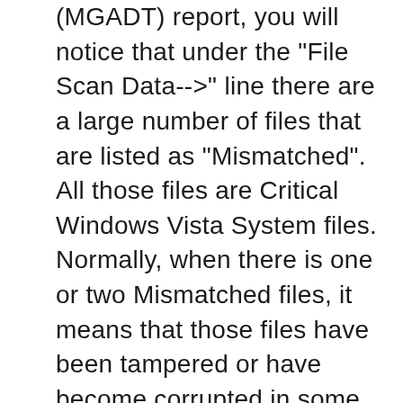(MGADT) report, you will notice that under the "File Scan Data-->" line there are a large number of files that are listed as "Mismatched". All those files are Critical Windows Vista System files. Normally, when there is one or two Mismatched files, it means that those files have been tampered or have become corrupted in some way. But in your case the MGADT report is indicating that ALL your Critical Windows Vista System files are Tampered or Corrupted. This is highly unlikely. What is more likely is that your System Catalog has been tampered or corrupted. The System Catalog stores all the Signatures Hashes (fingerprints) for all the Critical Windows Vista System files. One of the things that Windows Vista uses the System Catalog for is to identify if a file has been tampered or corrupted. However, if the fi...